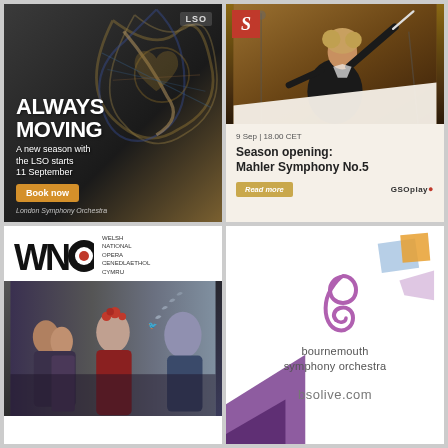[Figure (advertisement): London Symphony Orchestra advertisement with text 'ALWAYS MOVING - A new season with the LSO starts 11 September' and 'Book now' button, abstract colorful art in background, LSO logo top right]
[Figure (advertisement): GSOplay advertisement showing conductor with baton raised, red S logo top left, text '9 Sep | 18.00 CET' and 'Season opening: Mahler Symphony No.5', 'Read more' button, GSOplay brand bottom right]
[Figure (advertisement): Welsh National Opera (WNO) advertisement with WNO logo with circular motif, text in Welsh and English, photo showing opera performers]
[Figure (logo): Bournemouth Symphony Orchestra advertisement with purple/mauve treble-clef-like logo, text 'bournemouth symphony orchestra' and 'bsolive.com', colorful geometric shapes in corners]